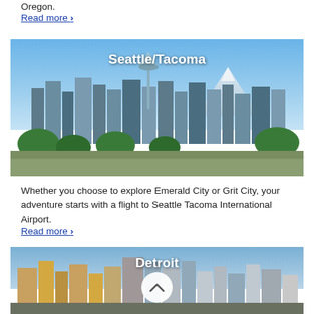Oregon.
Read more ›
[Figure (photo): Aerial view of Seattle skyline with Space Needle and Mount Rainier in background, labeled Seattle/Tacoma]
Whether you choose to explore Emerald City or Grit City, your adventure starts with a flight to Seattle Tacoma International Airport.
Read more ›
[Figure (photo): Detroit city skyline photo with Detroit label and upward chevron button]